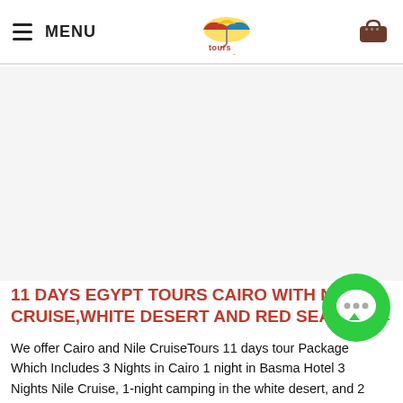MENU — tours marsa alam (logo) — cart
[Figure (photo): Large hero image area (blank/loading) for the Egypt tour package]
11 DAYS EGYPT TOURS CAIRO WITH NILE CRUISE,WHITE DESERT AND RED SEA...
We offer Cairo and Nile CruiseTours 11 days tour Package Which Includes 3 Nights in Cairo 1 night in Basma Hotel 3 Nights Nile Cruise, 1-night camping in the white desert, and 2 Nights in Hurghada.Visit the Pyramids of Giza, Abu Simbel temples, and the valley of kings and discover the white and